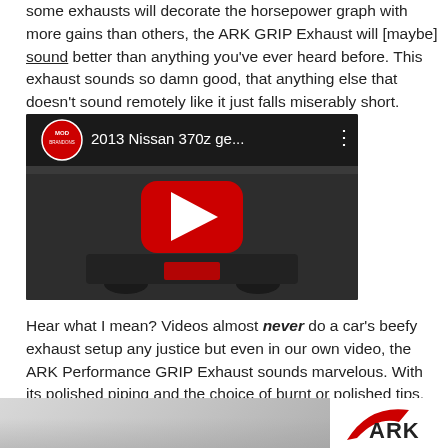some exhausts will decorate the horsepower graph with more gains than others, the ARK GRIP Exhaust will [maybe] sound better than anything you've ever heard before. This exhaust sounds so damn good, that anything else that doesn't sound remotely like it just falls miserably short.
[Figure (screenshot): YouTube video thumbnail showing a 2013 Nissan 370z with title '2013 Nissan 370z ge...' and a red play button overlay, channel icon from MOD in the top left corner.]
Hear what I mean? Videos almost never do a car's beefy exhaust setup any justice but even in our own video, the ARK Performance GRIP Exhaust sounds marvelous. With its polished piping and the choice of burnt or polished tips, nothing will please you more than the sight of its massive 4″ exit coming out from underneath your 370Z.
[Figure (photo): Bottom strip showing partial photo of a car exhaust pipe on the left and ARK logo (red swoosh with ARK text) on the right.]